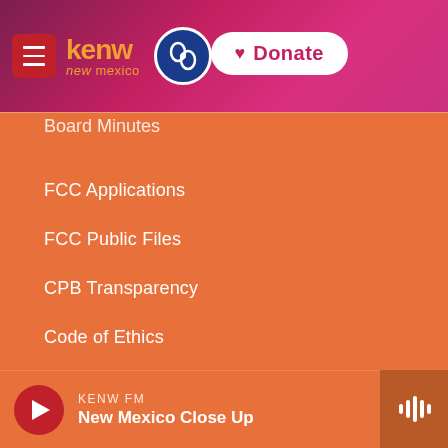KENW New Mexico PBS – Navigation Menu Header
Board Minutes
FCC Applications
FCC Public Files
CPB Transparency
Code of Ethics
Privacy Policy
Job Opportunities
Contact Us
KENW FM – New Mexico Close Up